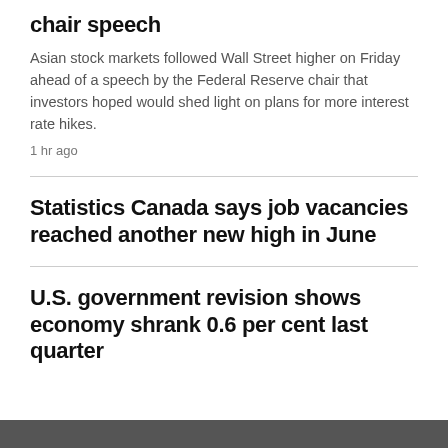chair speech
Asian stock markets followed Wall Street higher on Friday ahead of a speech by the Federal Reserve chair that investors hoped would shed light on plans for more interest rate hikes.
1 hr ago
Statistics Canada says job vacancies reached another new high in June
U.S. government revision shows economy shrank 0.6 per cent last quarter
LIFESTYLE >
[Figure (photo): Partially visible image at the bottom of the page]